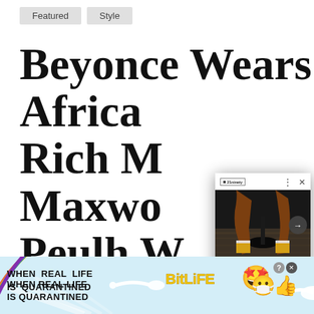Featured   Style
Beyonce Wears African Rich Maxwell Peulh more for the Mandela
[Figure (screenshot): Popup card showing a photo of a person's legs wearing yellow socks and yellow shoes, sitting on a chair with a dark background. Card has a logo, three-dots menu, X close button, right-arrow navigation button, and a caption reading '9 Timeless Shoes For Fall – 21Ninety']
9 Timeless Shoes For Fall – 21Ninety
[Figure (screenshot): Advertisement banner at the bottom reading 'WHEN REAL LIFE IS QUARANTINED' with BitLife branding, rainbow stripe, emoji icons (star face, mask face, thumbs up), close and help buttons]